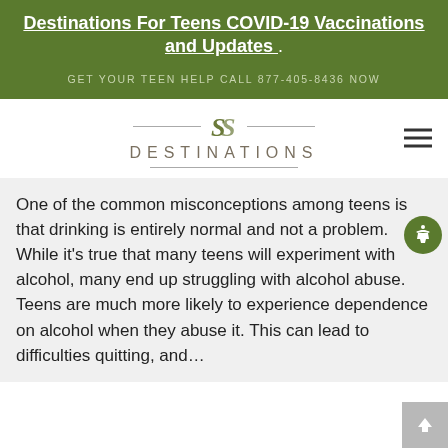Destinations For Teens COVID-19 Vaccinations and Updates
GET YOUR TEEN HELP CALL 877-405-8436 NOW
[Figure (logo): Destinations for Teens logo with stylized 'S' monogram and horizontal lines, hamburger menu icon at right]
One of the common misconceptions among teens is that drinking is entirely normal and not a problem. While it's true that many teens will experiment with alcohol, many end up struggling with alcohol abuse. Teens are much more likely to experience dependence on alcohol when they abuse it. This can lead to difficulties quitting, and…